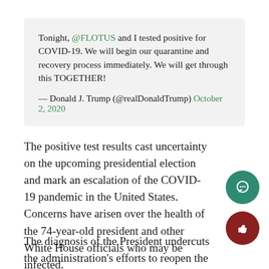Tonight, @FLOTUS and I tested positive for COVID-19. We will begin our quarantine and recovery process immediately. We will get through this TOGETHER!

— Donald J. Trump (@realDonaldTrump) October 2, 2020
The positive test results cast uncertainty on the upcoming presidential election and mark an escalation of the COVID-19 pandemic in the United States. Concerns have arisen over the health of the 74-year-old president and other White House officials who may be infected.
The diagnosis of the President undercuts the administration's efforts to reopen the nation, as the COVID-19 pandemic has taken over 200,000 American